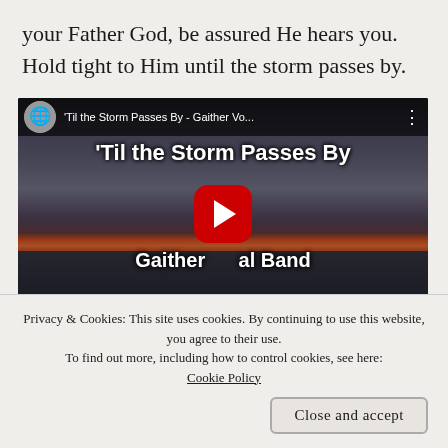your Father God, be assured He hears you. Hold tight to Him until the storm passes by.
[Figure (screenshot): YouTube video thumbnail showing 'Til the Storm Passes By - Gaither Vocal Band, with stormy ocean sky background, red YouTube play button in center, and video title overlay text.]
Privacy & Cookies: This site uses cookies. By continuing to use this website, you agree to their use. To find out more, including how to control cookies, see here: Cookie Policy
1st Sep 2022